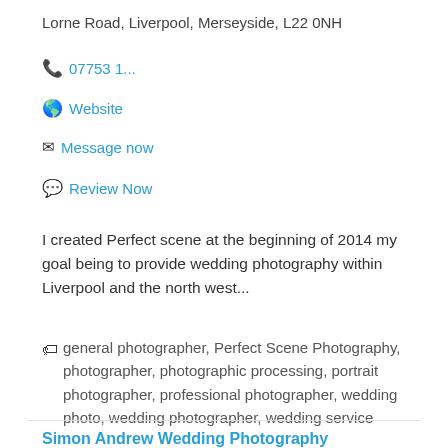Lorne Road, Liverpool, Merseyside, L22 0NH
📞 07753 1...
🌐 Website
✉ Message now
💬 Review Now
I created Perfect scene at the beginning of 2014 my goal being to provide wedding photography within Liverpool and the north west...
general photographer, Perfect Scene Photography, photographer, photographic processing, portrait photographer, professional photographer, wedding photo, wedding photographer, wedding service
Simon Andrew Wedding Photography
Is this your business? Claim now!